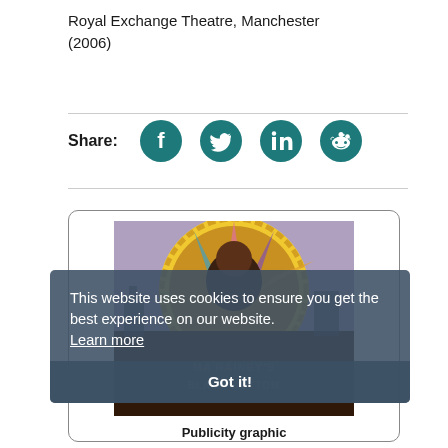Royal Exchange Theatre, Manchester (2006)
Share:
[Figure (other): Social media share icons: Facebook, Twitter, LinkedIn, Reddit]
[Figure (photo): Publicity graphic for Ma Rainey's Black Bottom, Royal Exchange Theatre production. Shows a person against a colorful sunburst/halo background with production title text.]
This website uses cookies to ensure you get the best experience on our website. Learn more
Got it!
Publicity graphic